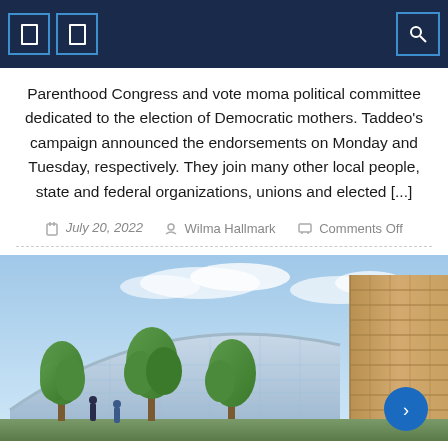Navigation bar with icons
Parenthood Congress and vote moma political committee dedicated to the election of Democratic mothers. Taddeo's campaign announced the endorsements on Monday and Tuesday, respectively. They join many other local people, state and federal organizations, unions and elected [...]
July 20, 2022   Wilma Hallmark   Comments Off
[Figure (photo): Architectural rendering of a modern curved glass building with trees in foreground and a wood-paneled building on the right side]